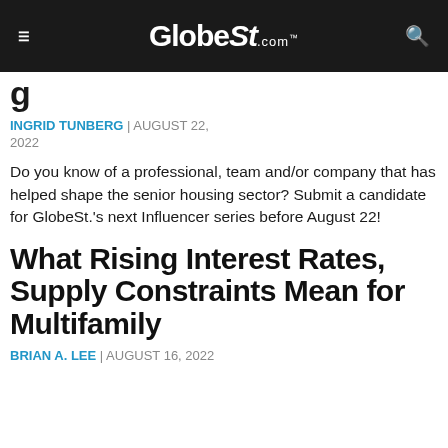GlobeSt.com
g…
INGRID TUNBERG | AUGUST 22, 2022
Do you know of a professional, team and/or company that has helped shape the senior housing sector? Submit a candidate for GlobeSt.'s next Influencer series before August 22!
What Rising Interest Rates, Supply Constraints Mean for Multifamily
BRIAN A. LEE | AUGUST 16, 2022